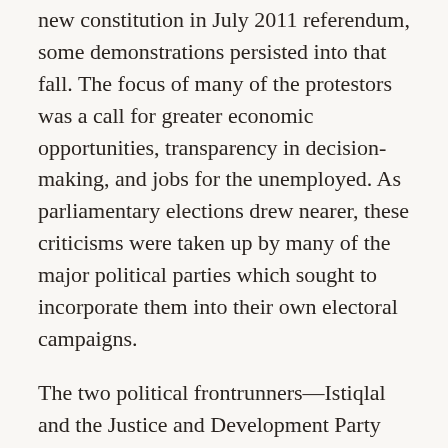new constitution in July 2011 referendum, some demonstrations persisted into that fall. The focus of many of the protestors was a call for greater economic opportunities, transparency in decision-making, and jobs for the unemployed. As parliamentary elections drew nearer, these criticisms were taken up by many of the major political parties which sought to incorporate them into their own electoral campaigns.
The two political frontrunners—Istiqlal and the Justice and Development Party (PJD)—promised to take actions to reduce wealth disparity, create jobs, promote transparency, and boost development. Both parties guaranteed economic reforms focusing on unemployment, tax reform, international trade and investment, and poverty reduction. They also listed education and legal reforms as part of their economic